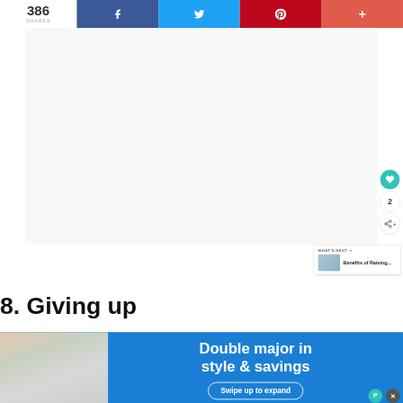[Figure (screenshot): Social media share bar at top with share count 386, Facebook, Twitter, Pinterest, and more buttons]
386 SHARES
[Figure (infographic): Floating like (heart) button with count 2 and share button on right side]
[Figure (screenshot): What's Next card showing 'Benefits of Raising...' with thumbnail]
8. Giving up
[Figure (screenshot): Advertisement overlay: Double major in style & savings with Swipe up to expand CTA on blue background with desk/room image]